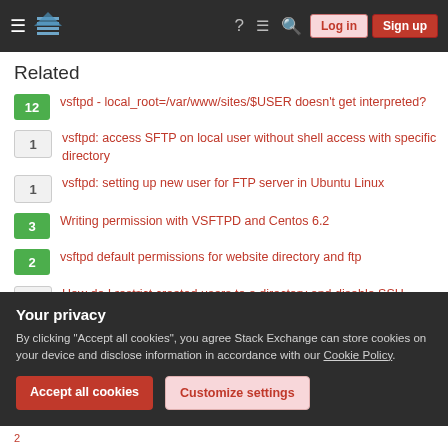Stack Exchange navigation bar with hamburger menu, logo, help, chat, search icons, Log in and Sign up buttons
Related
12 — vsftpd - local_root=/var/www/sites/$USER doesn't get interpreted?
1 — vsftpd: access SFTP on local user without shell access with specific directory
1 — vsftpd: setting up new user for FTP server in Ubuntu Linux
3 — Writing permission with VSFTPD and Centos 6.2
2 — vsftpd default permissions for website directory and ftp
1 — How do I restrict created users to a directory and disable SSH
Your privacy
By clicking "Accept all cookies", you agree Stack Exchange can store cookies on your device and disclose information in accordance with our Cookie Policy.
Accept all cookies   Customize settings